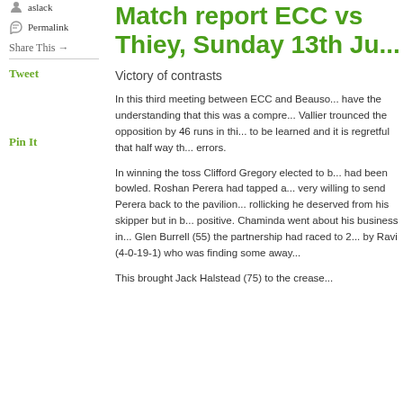aslack
Permalink
Share This →
Tweet
Pin It
Match report ECC vs Thiey, Sunday 13th Ju...
Victory of contrasts
In this third meeting between ECC and Beauso... have the understanding that this was a compre... Vallier trounced the opposition by 46 runs in thi... to be learned and it is regretful that half way th... errors.
In winning the toss Clifford Gregory elected to b... had been bowled. Roshan Perera had tapped a... very willing to send Perera back to the pavilion... rollicking he deserved from his skipper but in b... positive. Chaminda went about his business in... Glen Burrell (55) the partnership had raced to 2... by Ravi (4-0-19-1) who was finding some away...
This brought Jack Halstead (75) to the crease...